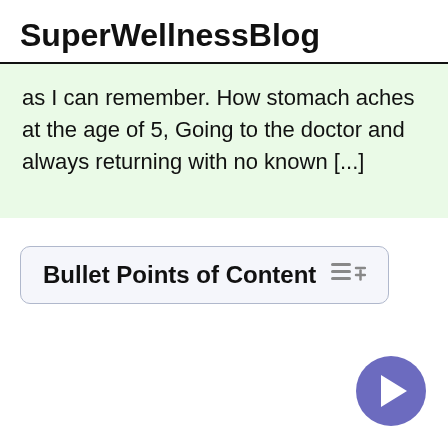SuperWellnessBlog
as I can remember. How stomach aches at the age of 5, Going to the doctor and always returning with no known [...]
Bullet Points of Content
[Figure (other): Play button circle icon in purple/indigo color at bottom right of page]